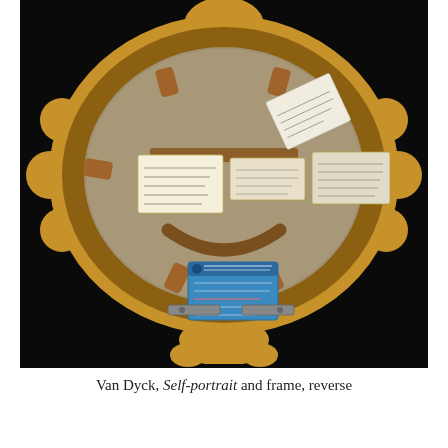[Figure (photo): Reverse side of an ornate gilded oval frame with labels and tags attached to the wooden backing. The frame has decorative carved surround with scrollwork. Several paper labels and a blue museum/gallery label are visible on the back of the canvas stretcher.]
Van Dyck, Self-portrait and frame, reverse